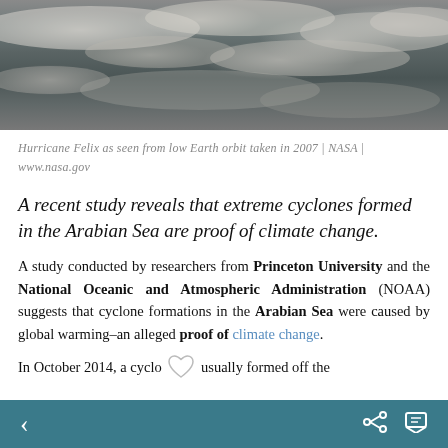[Figure (photo): Hurricane Felix as seen from low Earth orbit — satellite photograph showing swirling cloud formations over ocean, taken in 2007 by NASA.]
Hurricane Felix as seen from low Earth orbit taken in 2007 | NASA | www.nasa.gov
A recent study reveals that extreme cyclones formed in the Arabian Sea are proof of climate change.
A study conducted by researchers from Princeton University and the National Oceanic and Atmospheric Administration (NOAA) suggests that cyclone formations in the Arabian Sea were caused by global warming–an alleged proof of climate change.
In October 2014, a cyclo [heart icon] usually formed off the